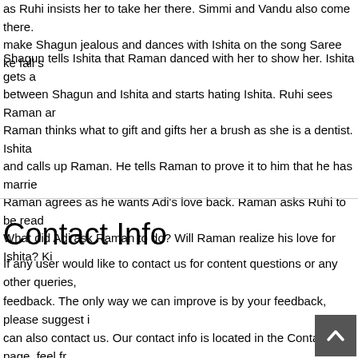as Ruhi insists her to take her there. Simmi and Vandu also come there. make Shagun jealous and dances with Ishita on the song Saree ke fall s
Shagun tells Ishita that Raman danced with her to show her. Ishita gets a between Shagun and Ishita and starts hating Ishita. Ruhi sees Raman ar Raman thinks what to gift and gifts her a brush as she is a dentist. Ishita and calls up Raman. He tells Raman to prove it to him that he has marrie Raman agrees as he wants Adi's love back. Raman asks Ruhi to be read What did Adi ask Raman to do? Will Raman realize his love for Ishita? K
Contact Info
If any user would like to contact us for content questions or any other queries, feedback. The only way we can improve is by your feedback, please suggest i can also contact us. Our contact info is located in the Contact US page, feel fr appreciate the effort of our users who engage in discussions and cho us as